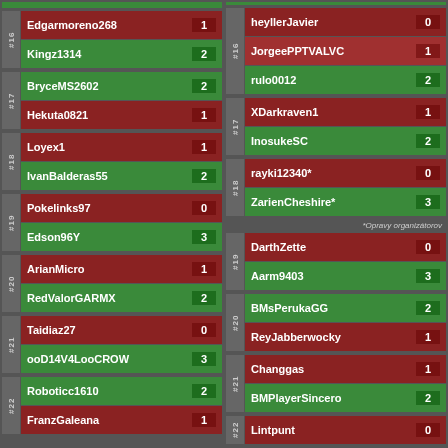| Rank | Player | Score |
| --- | --- | --- |
| #16 | Edgarmoreno268 | 1 |
| #16 | Kingz1314 | 2 |
| #17 | BryceMS2602 | 2 |
| #17 | Hekuta0821 | 1 |
| #18 | Loyex1 | 1 |
| #18 | IvanBalderas55 | 2 |
| #19 | Pokelinks97 | 0 |
| #19 | Edson96Y | 3 |
| #20 | ArianMicro | 1 |
| #20 | RedValorGARMX | 2 |
| #21 | Taidiaz27 | 0 |
| #21 | ooD14V4LooCROW | 3 |
| #22 | Roboticc1610 | 2 |
| #22 | FranzGaleana | 1 |
| #16 | heyllerJavier | 0 |
| #16 | JorgeePPTVALVC | 1 |
| #16 | rulo0012 | 2 |
| #17 | XDarkraven1 | 1 |
| #17 | InosukeSC | 2 |
| #18 | rayki12340* | 0 |
| #18 | ZarienCheshire* | 3 |
| #19 | DarthZette | 0 |
| #19 | Aarm9403 | 3 |
| #20 | BMsPerukaGG | 2 |
| #20 | ReyJabberwocky | 1 |
| #21 | Changgas | 1 |
| #21 | BMPlayerSincero | 2 |
| #22 | Lintpunt | 0 |
*Opravy organizatorov